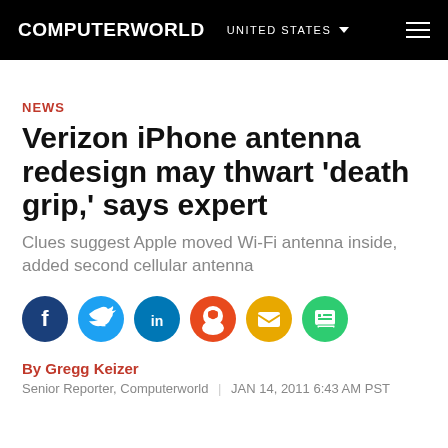COMPUTERWORLD  UNITED STATES
NEWS
Verizon iPhone antenna redesign may thwart 'death grip,' says expert
Clues suggest Apple moved Wi-Fi antenna inside, added second cellular antenna
[Figure (infographic): Row of six social sharing icons: Facebook (dark blue), Twitter (light blue), LinkedIn (dark blue), Reddit (red/orange), Email (yellow/gold), Print (green)]
By Gregg Keizer
Senior Reporter, Computerworld  |  JAN 14, 2011 6:43 AM PST